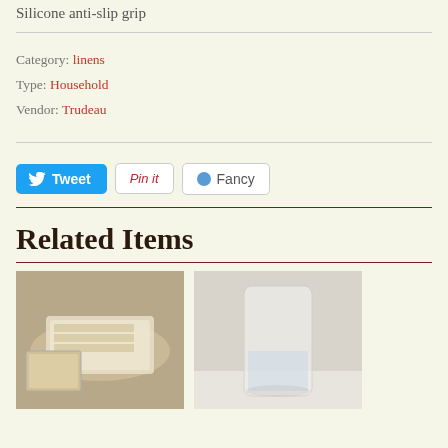Silicone anti-slip grip
Category: linens
Type: Household
Vendor: Trudeau
[Figure (screenshot): Social sharing buttons: Tweet (blue), Pin it (white with red text), Fancy (white)]
Related Items
[Figure (photo): Left: Photo of a plastic food storage container with bread, with a smaller thumbnail inset. Right: Photo of a clear drinking glass with ice water on a grey background.]